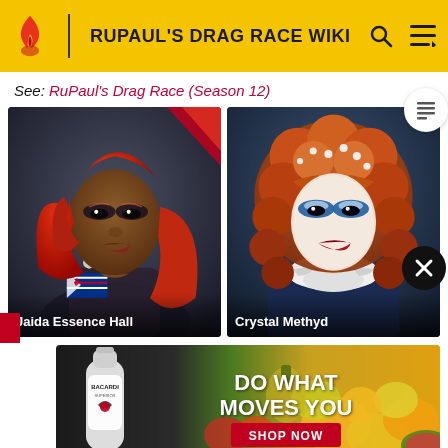RUPAUL'S DRAG RACE WIKI
See: RuPaul's Drag Race (Season 12)
[Figure (photo): Photo of Jaida Essence Hall, a drag queen with long red hair, dramatic makeup, wearing a sparkly outfit with a Puerto Rico flag motif. Caption: Jaida Essence Hall]
[Figure (photo): Photo of Crystal Methyd, a drag queen with voluminous curly auburn hair adorned with pearls, dramatic blue and white makeup, wearing a frilly white collar. Caption: Crystal Methyd]
[Figure (photo): Bacardi advertisement banner with fruits in background, a Bacardi Superior bottle on the left, text reading DO WHAT MOVES YOU with a red SHOP NOW button.]